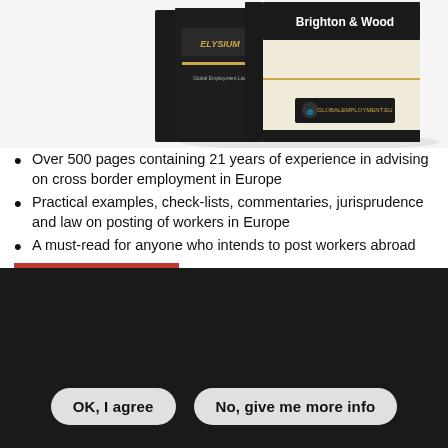[Figure (photo): Two books stacked/leaning showing 'Brighton & Wood' title on spine and cover, Third Edition, with Elysium and GlobalEmployment.eu branding]
Over 500 pages containing 21 years of experience in advising on cross border employment in Europe
Practical examples, check-lists, commentaries, jurisprudence and law on posting of workers in Europe
A must-read for anyone who intends to post workers abroad
WE USE COOKIES ON OUR WEBSITE. TO USE THE WEBSITE AS INTENDED PLEASE...
OK, I agree | No, give me more info